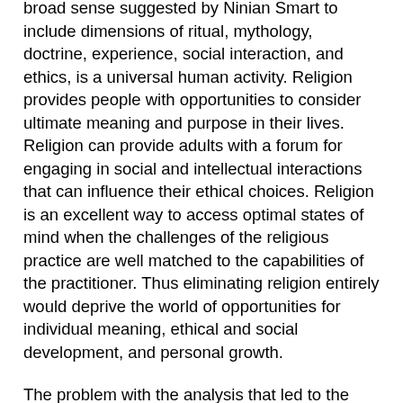broad sense suggested by Ninian Smart to include dimensions of ritual, mythology, doctrine, experience, social interaction, and ethics, is a universal human activity. Religion provides people with opportunities to consider ultimate meaning and purpose in their lives. Religion can provide adults with a forum for engaging in social and intellectual interactions that can influence their ethical choices. Religion is an excellent way to access optimal states of mind when the challenges of the religious practice are well matched to the capabilities of the practitioner. Thus eliminating religion entirely would deprive the world of opportunities for individual meaning, ethical and social development, and personal growth.
The problem with the analysis that led to the conclusion that religion should be eliminated is that it only looked at the doctrinal dimension of one kind of religious belief, namely the doctrines of conservative fundamentalism which is mistaken to be a salient example, or central prototype, of all religious beliefs. A more sensible analysis would be concerned with acknowledging the other important dimensions of religion, taking a critical look at what examples of religious belief are